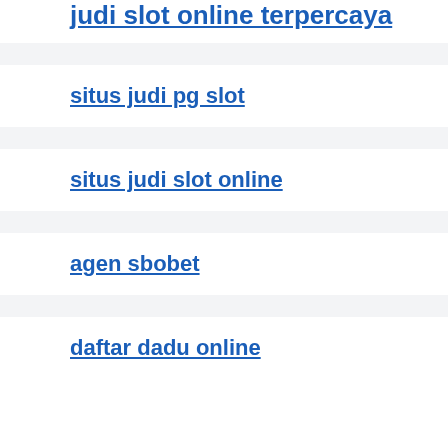judi slot online terpercaya
situs judi pg slot
situs judi slot online
agen sbobet
daftar dadu online